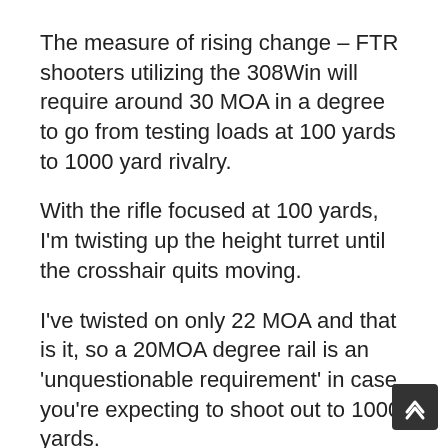The measure of rising change – FTR shooters utilizing the 308Win will require around 30 MOA in a degree to go from testing loads at 100 yards to 1000 yard rivalry.
With the rifle focused at 100 yards, I'm twisting up the height turret until the crosshair quits moving.
I've twisted on only 22 MOA and that is it, so a 20MOA degree rail is an 'unquestionable requirement' in case you're expecting to shoot out to 1000 yards.
The maker claims 55 MOA add up to – which should give us around 25 MOA from 100 yards yet in manufactured 'mistakes' in rifle and